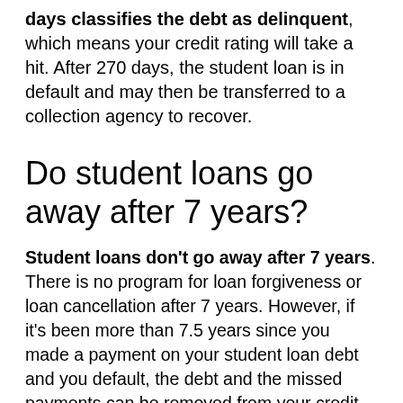days classifies the debt as delinquent, which means your credit rating will take a hit. After 270 days, the student loan is in default and may then be transferred to a collection agency to recover.
Do student loans go away after 7 years?
Student loans don't go away after 7 years. There is no program for loan forgiveness or loan cancellation after 7 years. However, if it's been more than 7.5 years since you made a payment on your student loan debt and you default, the debt and the missed payments can be removed from your credit report.